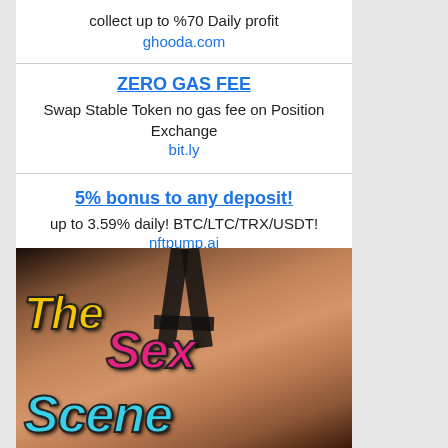collect up to %70 Daily profit
ghooda.com
ZERO GAS FEE
Swap Stable Token no gas fee on Position Exchange
bit.ly
5% bonus to any deposit!
up to 3.59% daily! BTC/LTC/TRX/USDT!
nftpump.ai
[Figure (photo): Promotional image showing a person in a black bikini top with colorful text overlay reading 'The Sex Scene' in yellow, pink, and cyan italic lettering]